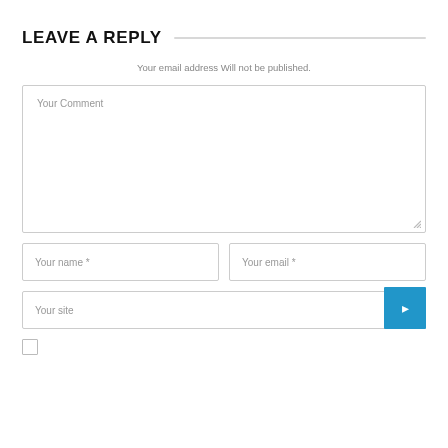LEAVE A REPLY
Your email address Will not be published.
[Figure (screenshot): Comment form with Your Comment textarea, Your name and Your email fields side by side, Your site field with blue arrow button, and a checkbox at the bottom.]